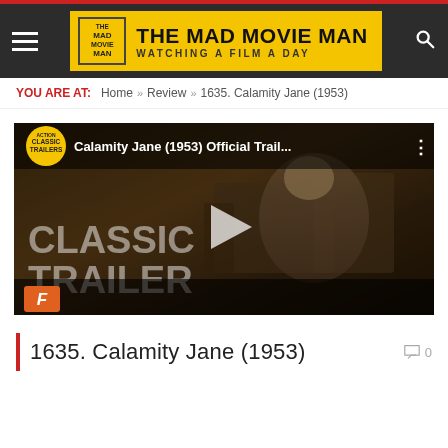THE MAD MOVIE MAN — WATCHING A FILM A DAY
YOU ARE AT: Home » Review » 1635. Calamity Jane (1953)
[Figure (screenshot): YouTube video thumbnail for 'Calamity Jane (1953) Official Trail...' showing a classic trailer badge, play button, and a woman in western costume. Text overlay reads CLASSIC TRAILER.]
1635. Calamity Jane (1953)